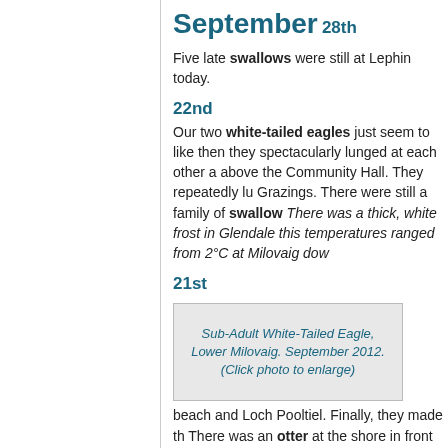September
28th
Five late swallows were still at Lephin today.
22nd
Our two white-tailed eagles just seem to like then they spectacularly lunged at each other a above the Community Hall. They repeatedly lu Grazings. There were still a family of swallows There was a thick, white frost in Glendale this temperatures ranged from 2°C at Milovaig dow
21st
[Figure (photo): Sub-Adult White-Tailed Eagle, Lower Milovaig. September 2012. (Click photo to enlarge)]
Sub-Adult White-Tailed Eagle, Lower Milovaig. September 2012. (Click photo to enlarge)
beach and Loch Pooltiel. Finally, they made th There was an otter at the shore in front of The
20th
There was a late leucorhoa wheatear outside There were a total of 7 late skylarks, a single There were no other auks and only a handful around. At around 12:30pm, an adult and a su of our resident golden eagles, before headin